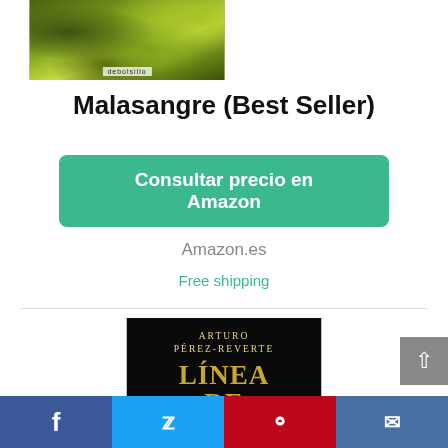[Figure (photo): Book cover top portion - mossy green textured background with publisher label 'debolsillo']
Malasangre (Best Seller)
Consultar precio en Amazon
Amazon.es
Free shipping
[Figure (photo): Book cover for 'Línea de Fuego' by Arturo Pérez-Reverte - black background with gold/yellow lettering showing author name and title, partially showing a person at the bottom]